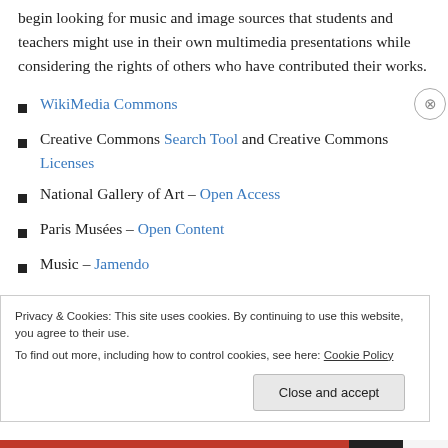begin looking for music and image sources that students and teachers might use in their own multimedia presentations while considering the rights of others who have contributed their works.
WikiMedia Commons
Creative Commons Search Tool and Creative Commons Licenses
National Gallery of Art – Open Access
Paris Musées – Open Content
Music – Jamendo
Privacy & Cookies: This site uses cookies. By continuing to use this website, you agree to their use. To find out more, including how to control cookies, see here: Cookie Policy
Close and accept